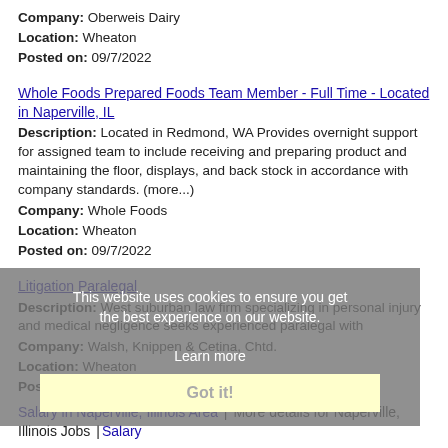Company: Oberweis Dairy
Location: Wheaton
Posted on: 09/7/2022
Whole Foods Prepared Foods Team Member - Full Time - Located in Naperville, IL
Description: Located in Redmond, WA Provides overnight support for assigned team to include receiving and preparing product and maintaining the floor, displays, and back stock in accordance with company standards. (more...)
Company: Whole Foods
Location: Wheaton
Posted on: 09/7/2022
Litigation Paralegal
Description: West suburban law firm specializing in personal injury and medical negligence seeks experienced paralegal with
Company: Walsh, Knippen & Cetina, Chtd.
Location: Wheaton
Posted on: 09/7/2022
Salary in Naperville, Illinois Area | More details for Naperville, Illinois Jobs |Salary